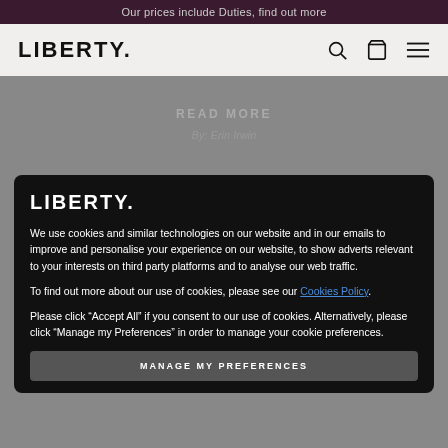Our prices include Duties, find out more
LIBERTY.
READ MORE
By: Erin Irwin
LIBERTY.
We use cookies and similar technologies on our website and in our emails to improve and personalise your experience on our website, to show adverts relevant to your interests on third party platforms and to analyse our web traffic.
To find out more about our use of cookies, please see our Cookies Policy.
Please click “Accept All” if you consent to our use of cookies. Alternatively, please click “Manage my Preferences” in order to manage your cookie preferences.
MANAGE MY PREFERENCES